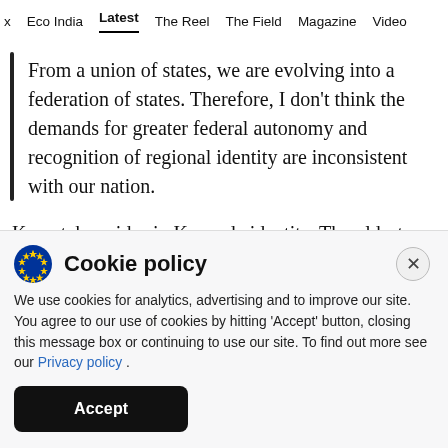x  Eco India  Latest  The Reel  The Field  Magazine  Video
From a union of states, we are evolving into a federation of states. Therefore, I don't think the demands for greater federal autonomy and recognition of regional identity are inconsistent with our nation.
Karnataka prides in Kannada identity. The oldest written document (in stone) in Kannada found at
Cookie policy
We use cookies for analytics, advertising and to improve our site. You agree to our use of cookies by hitting 'Accept' button, closing this message box or continuing to use our site. To find out more see our Privacy policy .